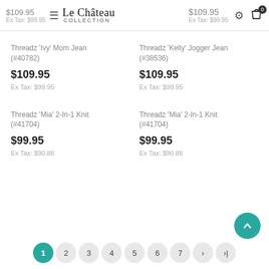$109.95 Le Château Collection | $109.95 Ex Tax: $99.95
Threadz 'Ivy' Mom Jean (#40782)
$109.95
Ex Tax: $99.95
Threadz 'Kelly' Jogger Jean (#38536)
$109.95
Ex Tax: $99.95
Threadz 'Mia' 2-In-1 Knit (#41704)
$99.95
Ex Tax: $90.86
Threadz 'Mia' 2-In-1 Knit (#41704)
$99.95
Ex Tax: $90.86
1 2 3 4 5 6 7 > >|